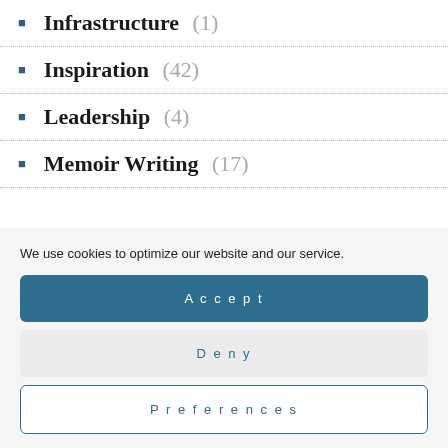Infrastructure (1)
Inspiration (42)
Leadership (4)
Memoir Writing (17)
We use cookies to optimize our website and our service.
Accept
Deny
Preferences